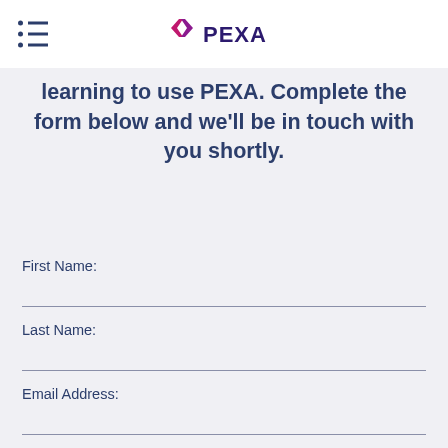PEXA
learning to use PEXA. Complete the form below and we'll be in touch with you shortly.
First Name:
Last Name:
Email Address: